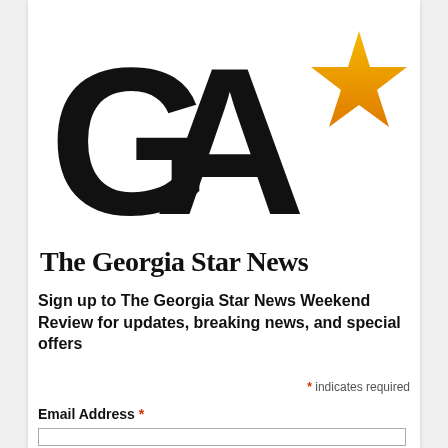[Figure (logo): The Georgia Star News logo: large bold black letters 'GA' followed by a golden/orange star shape, with 'The Georgia Star News' in bold serif text below]
Sign up to The Georgia Star News Weekend Review for updates, breaking news, and special offers
* indicates required
Email Address *